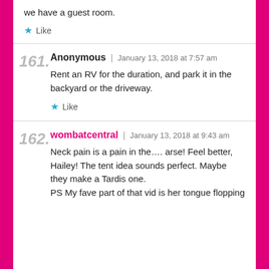we have a guest room.
Like
161. Anonymous | January 13, 2018 at 7:57 am
Rent an RV for the duration, and park it in the backyard or the driveway.
Like
162. wombatcentral | January 13, 2018 at 9:43 am
Neck pain is a pain in the…. arse! Feel better, Hailey! The tent idea sounds perfect. Maybe they make a Tardis one. PS My fave part of that vid is her tongue flopping